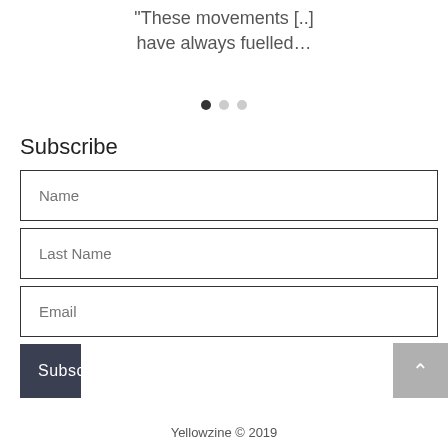"These movements [...] have always fuelled…
[Figure (other): Carousel pagination dots: one filled black dot and two light grey dots]
Subscribe
Name
Last Name
Email
Subscribe
Yellowzine © 2019